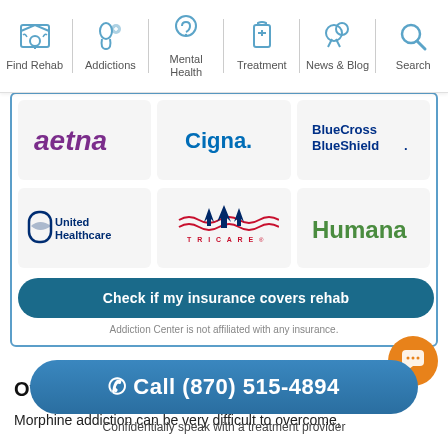Find Rehab | Addictions | Mental Health | Treatment | News & Blog | Search
[Figure (logo): Aetna logo - purple stylized text]
[Figure (logo): Cigna logo - blue text]
[Figure (logo): BlueCross BlueShield logo - black text]
[Figure (logo): United Healthcare logo - blue shield icon with text]
[Figure (logo): TRICARE logo - red white and blue star with waves]
[Figure (logo): Humana logo - green text]
Check if my insurance covers rehab
Addiction Center is not affiliated with any insurance.
Overcoming Morphine Addiction
Morphine addiction can be very difficult to overcome,
Call (870) 515-4894
Confidentially speak with a treatment provider